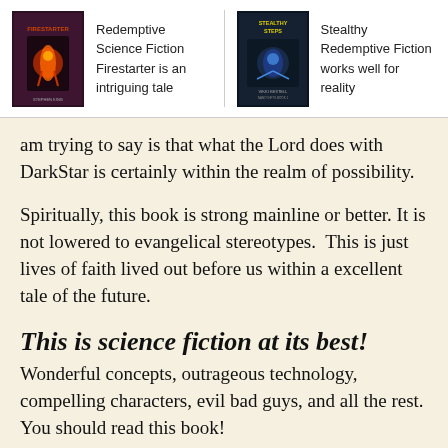Redemptive Science Fiction
Firestarter is an intriguing tale
Stealthy Redemptive Fiction
works well for reality
am trying to say is that what the Lord does with DarkStar is certainly within the realm of possibility.
Spiritually, this book is strong mainline or better. It is not lowered to evangelical stereotypes. This is just lives of faith lived out before us within a excellent tale of the future.
This is science fiction at its best!
Wonderful concepts, outrageous technology, compelling characters, evil bad guys, and all the rest. You should read this book!